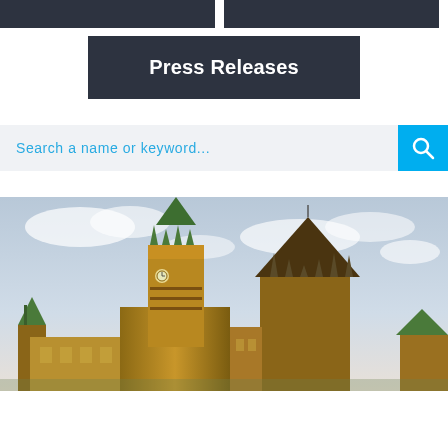[Figure (screenshot): Two dark navigation bar buttons side by side at top of page]
Press Releases
[Figure (screenshot): Search bar with placeholder text 'Search a name or keyword...' and a cyan search button with magnifying glass icon]
[Figure (photo): Photo of the Canadian Parliament Buildings in Ottawa showing the Peace Tower with green copper roof and clock, and the library dome, against a cloudy sky]